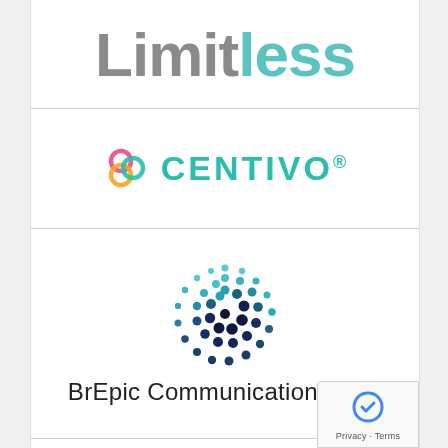[Figure (logo): Limitless logo — large bold text with 'Limit' in gray and 'less' in teal/cyan color]
[Figure (logo): Centivo logo — colorful interlocking circles icon and 'CENTIVO®' wordmark in teal]
[Figure (logo): BrEpic Communications LLC logo — circular dot pattern in teal and dark navy gradient with company name below]
[Figure (logo): Google reCAPTCHA badge in bottom-right corner with 'Privacy · Terms' text]